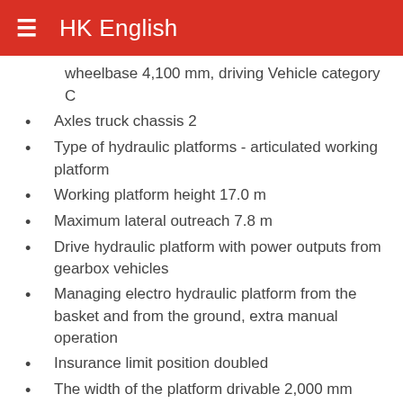HK English
wheelbase 4,100 mm, driving Vehicle category C
Axles truck chassis 2
Type of hydraulic platforms - articulated working platform
Working platform height 17.0 m
Maximum lateral outreach 7.8 m
Drive hydraulic platform with power outputs from gearbox vehicles
Managing electro hydraulic platform from the basket and from the ground, extra manual operation
Insurance limit position doubled
The width of the platform drivable 2,000 mm
Platform height drivable 2.540 mm
Platform length drivable 6.650 mm
Maximum weight 2.200 kg
The minimum height of the working basket from the floor drivable 700 mm